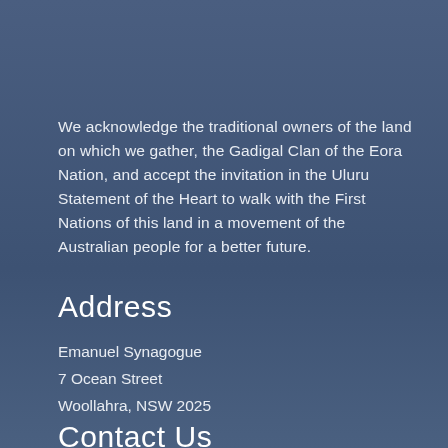We acknowledge the traditional owners of the land on which we gather, the Gadigal Clan of the Eora Nation, and accept the invitation in the Uluru Statement of the Heart to walk with the First Nations of this land in a movement of the Australian people for a better future.
Address
Emanuel Synagogue
7 Ocean Street
Woollahra, NSW 2025
Contact Us